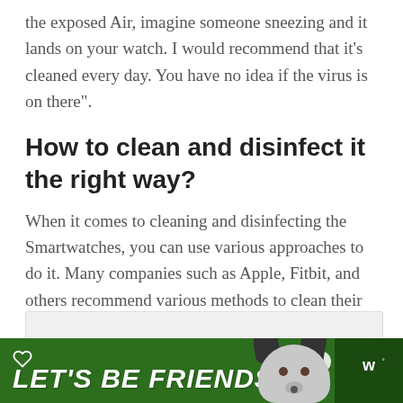the exposed Air, imagine someone sneezing and it lands on your watch. I would recommend that it’s cleaned every day. You have no idea if the virus is on there”.
How to clean and disinfect it the right way?
When it comes to cleaning and disinfecting the Smartwatches, you can use various approaches to do it. Many companies such as Apple, Fitbit, and others recommend various methods to clean their devices.
[Figure (illustration): Advertisement banner with green background reading LET'S BE FRIENDS with a dog illustration and close button]